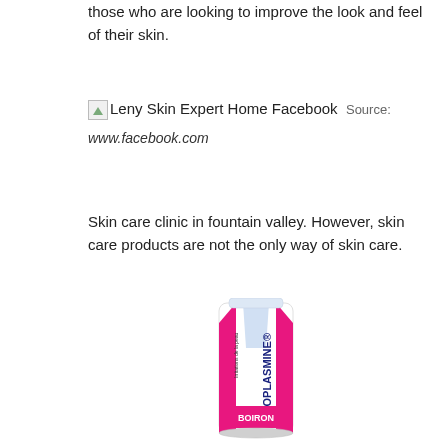those who are looking to improve the look and feel of their skin.
[Figure (screenshot): Broken image placeholder for 'Leny Skin Expert Home Facebook' with source label and URL www.facebook.com]
Skin care clinic in fountain valley. However, skin care products are not the only way of skin care.
[Figure (photo): Meoplasmine by Boiron skin cream tube, white and pink packaging with text 'Irritations de la peau MEOPLASMINE BOIRON']